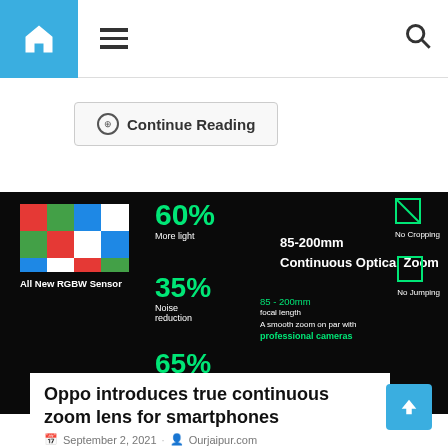Navigation bar with home icon, hamburger menu, and search icon
Continue Reading
[Figure (screenshot): Dark presentation slide showing: All New RGBW Sensor with colorful checkered pattern, 60% More light, 35% Noise reduction, 65% Vibration, 85-200mm Continuous Optical Zoom, 85-200mm focal length, No Cropping, No Jumping, A smooth zoom on par with professional cameras. A person in a beanie hat is partially visible.]
Oppo introduces true continuous zoom lens for smartphones
September 2, 2021  Ourjaipur.com